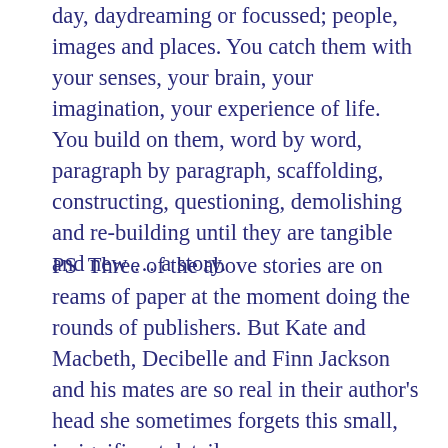day, daydreaming or focussed; people, images and places. You catch them with your senses, your brain, your imagination, your experience of life. You build on them, word by word, paragraph by paragraph, scaffolding, constructing, questioning, demolishing and re-building until they are tangible and new … a story.
PS  Three of the above stories are on reams of paper at the moment doing the rounds of publishers. But Kate and Macbeth, Decibelle and Finn Jackson and his mates are so real in their author's head she sometimes forgets this small, insignificant detail.